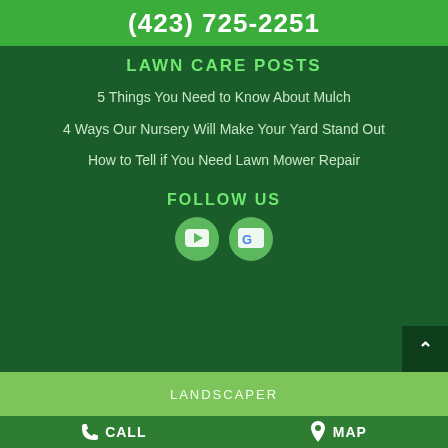(423) 725-2251
LAWN CARE POSTS
5 Things You Need to Know About Mulch
4 Ways Our Nursery Will Make Your Yard Stand Out
How to Tell if You Need Lawn Mower Repair
FOLLOW US
[Figure (other): YouTube and Google social media icon buttons]
LANDSCAPER
CALL   MAP